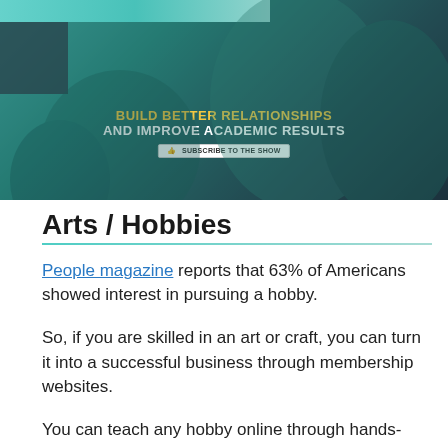[Figure (photo): Banner image showing students studying together, with overlay text 'BUILD BETTER RELATIONSHIPS AND IMPROVE ACADEMIC RESULTS' and a subscribe button]
Arts / Hobbies
People magazine reports that 63% of Americans showed interest in pursuing a hobby.
So, if you are skilled in an art or craft, you can turn it into a successful business through membership websites.
You can teach any hobby online through hands-